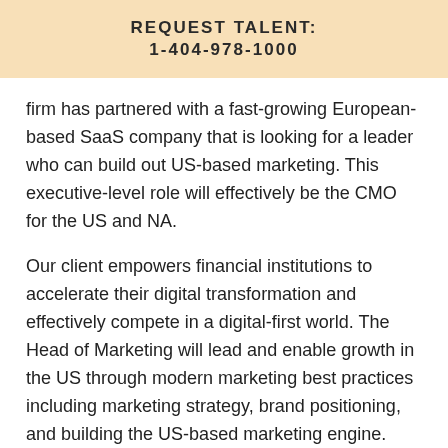REQUEST TALENT:
1-404-978-1000
firm has partnered with a fast-growing European-based SaaS company that is looking for a leader who can build out US-based marketing. This executive-level role will effectively be the CMO for the US and NA.
Our client empowers financial institutions to accelerate their digital transformation and effectively compete in a digital-first world. The Head of Marketing will lead and enable growth in the US through modern marketing best practices including marketing strategy, brand positioning, and building the US-based marketing engine.